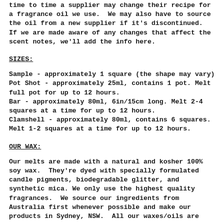time to time a supplier may change their recipe for a fragrance oil we use.  We may also have to source the oil from a new supplier if it's discontinued.  If we are made aware of any changes that affect the scent notes, we'll add the info here.
SIZES:
Sample - approximately 1 square (the shape may vary)
Pot Shot - approximately 25ml, contains 1 pot. Melt full pot for up to 12 hours.
Bar - approximately 80ml, 6in/15cm long. Melt 2-4 squares at a time for up to 12 hours.
Clamshell - approximately 80ml, contains 6 squares. Melt 1-2 squares at a time for up to 12 hours.
OUR WAX:
Our melts are made with a natural and kosher 100% soy wax.  They're dyed with specially formulated candle pigments, biodegradable glitter, and synthetic mica. We only use the highest quality fragrances.  We source our ingredients from Australia first whenever possible and make our products in Sydney, NSW.  All our waxes/oils are